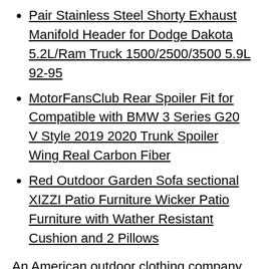Pair Stainless Steel Shorty Exhaust Manifold Header for Dodge Dakota 5.2L/Ram Truck 1500/2500/3500 5.9L 92-95
MotorFansClub Rear Spoiler Fit for Compatible with BMW 3 Series G20 V Style 2019 2020 Trunk Spoiler Wing Real Carbon Fiber
Red Outdoor Garden Sofa sectional XIZZI Patio Furniture Wicker Patio Furniture with Wather Resistant Cushion and 2 Pillows
An American outdoor clothing company with years of experience to their credit, Our wide selection is elegible for free shipping and free returns. Printed With State Of The Art Direct    To Garment Inkjet Printers. If You Give This Moose Silhouette On